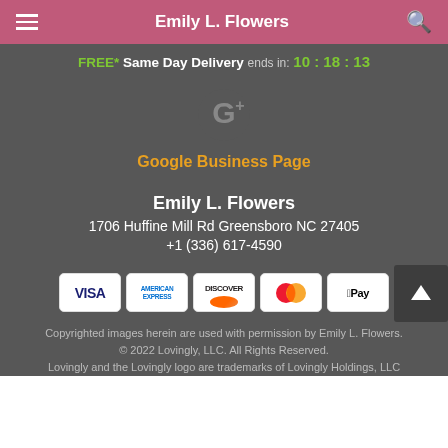Emily L. Flowers
FREE* Same Day Delivery ends in: 10 : 18 : 13
[Figure (logo): Google+ icon (G+ logo in grey)]
Google Business Page
Emily L. Flowers
1706 Huffine Mill Rd Greensboro NC 27405
+1 (336) 617-4590
[Figure (infographic): Payment method icons: VISA, American Express, Discover, Mastercard, Apple Pay]
Copyrighted images herein are used with permission by Emily L. Flowers.
© 2022 Lovingly, LLC. All Rights Reserved.
Lovingly and the Lovingly logo are trademarks of Lovingly Holdings, LLC